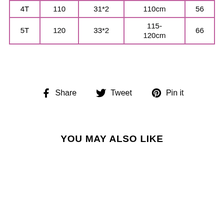| 4T | 110 | 31*2 | 110cm | 56 |
| 5T | 120 | 33*2 | 115-120cm | 66 |
Share  Tweet  Pin it
YOU MAY ALSO LIKE